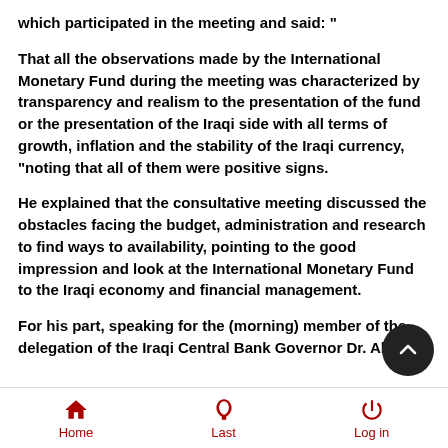which participated in the meeting and said: "
That all the observations made by the International Monetary Fund during the meeting was characterized by transparency and realism to the presentation of the fund or the presentation of the Iraqi side with all terms of growth, inflation and the stability of the Iraqi currency, "noting that all of them were positive signs.
He explained that the consultative meeting discussed the obstacles facing the budget, administration and research to find ways to availability, pointing to the good impression and look at the International Monetary Fund to the Iraqi economy and financial management.
For his part, speaking for the (morning) member of the delegation of the Iraqi Central Bank Governor Dr. Abdul
Home  Last  Log in